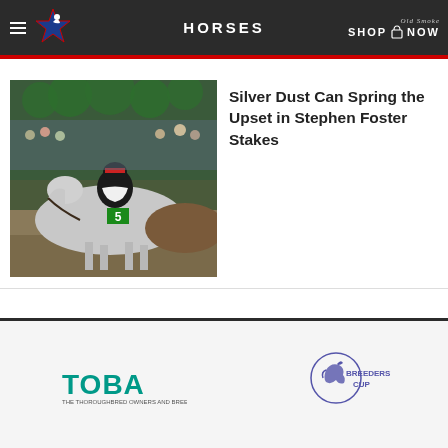HORSES
[Figure (photo): Horse race photo showing a gray horse with jockey wearing number 5 competing at a racetrack with green decorations in the background]
Silver Dust Can Spring the Upset in Stephen Foster Stakes
[Figure (logo): TOBA - Thoroughbred Owners and Breeders Association logo in teal/green text]
[Figure (logo): Breeders' Cup logo with horse head illustration in purple/blue]